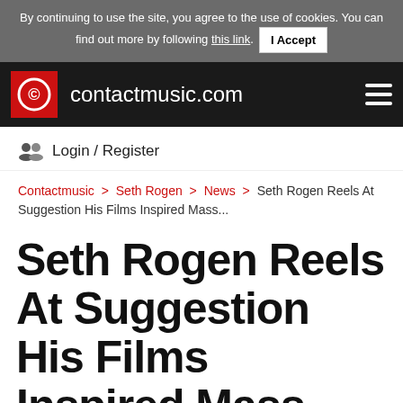By continuing to use the site, you agree to the use of cookies. You can find out more by following this link. I Accept
[Figure (logo): contactmusic.com logo with red square containing white copyright symbol C, followed by site name text]
Login / Register
Contactmusic > Seth Rogen > News > Seth Rogen Reels At Suggestion His Films Inspired Mass...
Seth Rogen Reels At Suggestion His Films Inspired Mass Shooting